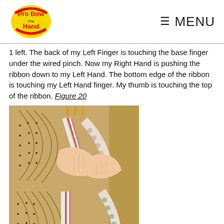Pro Bow The Hand | MENU
1 left. The back of my Left Finger is touching the base finger under the wired pinch. Now my Right Hand is pushing the ribbon down to my Left Hand. The bottom edge of the ribbon is touching my Left Hand finger. My thumb is touching the top of the ribbon. Figure 20
[Figure (photo): Hands holding ribbon on a Pro Bow board, top view showing ribbon manipulation technique, Figure 20 top image]
[Figure (photo): Hands holding ribbon on a Pro Bow board, bottom view showing ribbon manipulation technique, Figure 20 bottom image]